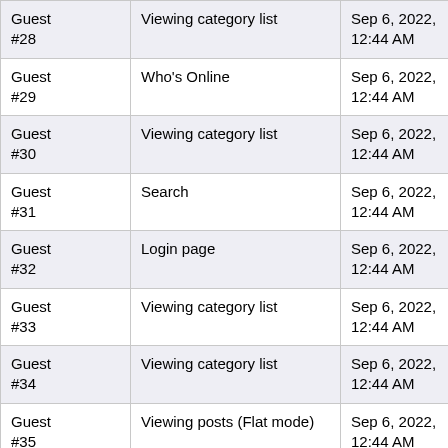| Guest #28 | Viewing category list | Sep 6, 2022, 12:44 AM |
| Guest #29 | Who's Online | Sep 6, 2022, 12:44 AM |
| Guest #30 | Viewing category list | Sep 6, 2022, 12:44 AM |
| Guest #31 | Search | Sep 6, 2022, 12:44 AM |
| Guest #32 | Login page | Sep 6, 2022, 12:44 AM |
| Guest #33 | Viewing category list | Sep 6, 2022, 12:44 AM |
| Guest #34 | Viewing category list | Sep 6, 2022, 12:44 AM |
| Guest #35 | Viewing posts (Flat mode) | Sep 6, 2022, 12:44 AM |
| Guest #36 | Who's Online | Sep 6, 2022, 12:44 AM |
| Guest #37 | Signup | Sep 6, 2022, 12:44 AM |
| Guest #38 | Viewing category list | Sep 6, 2022, 12:44 AM |
| Guest #39 | Search | Sep 6, 2022, 12:44 AM |